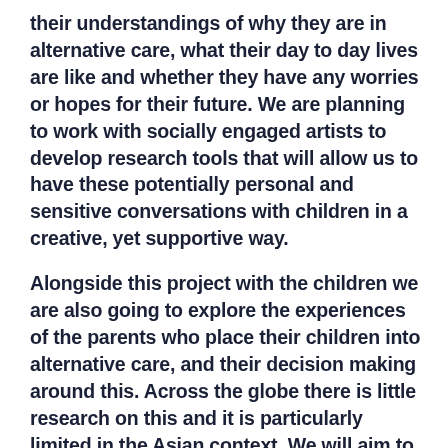their understandings of why they are in alternative care, what their day to day lives are like and whether they have any worries or hopes for their future. We are planning to work with socially engaged artists to develop research tools that will allow us to have these potentially personal and sensitive conversations with children in a creative, yet supportive way.
Alongside this project with the children we are also going to explore the experiences of the parents who place their children into alternative care, and their decision making around this. Across the globe there is little research on this and it is particularly limited in the Asian context. We will aim to reach at least thirty parents in total to understand the drivers that result in children's placement. The study will then draw from both the children and parent's experiences and perspectives to produce key recommendations for policy actors and practitioners. We will highlight what